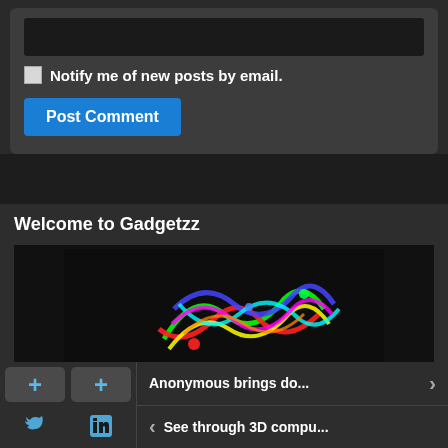[Figure (screenshot): Dark text input box for comment form]
Notify me of new posts by email.
Post Comment
Welcome to Gadgetzz
[Figure (photo): Colorful 3D rendered object with neon strands on dark background]
[Figure (screenshot): Social share buttons: plus, plus, Twitter bird, LinkedIn icon]
Anonymous brings do...
See through 3D compu...